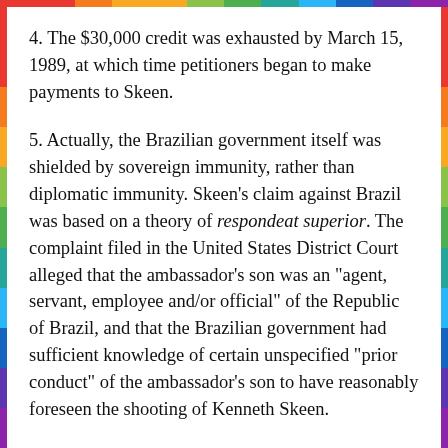4. The $30,000 credit was exhausted by March 15, 1989, at which time petitioners began to make payments to Skeen.
5. Actually, the Brazilian government itself was shielded by sovereign immunity, rather than diplomatic immunity. Skeen's claim against Brazil was based on a theory of respondeat superior. The complaint filed in the United States District Court alleged that the ambassador's son was an "agent, servant, employee and/or official" of the Republic of Brazil, and that the Brazilian government had sufficient knowledge of certain unspecified "prior conduct" of the ambassador's son to have reasonably foreseen the shooting of Kenneth Skeen.
6. Skeen is represented in this court, as he was before DOES, by a different attorney from a different law firm.